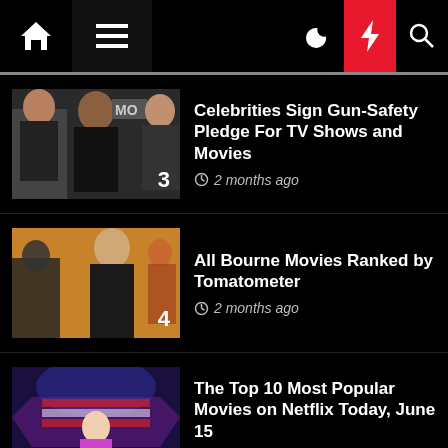Navigation bar with home, menu, dark mode, lightning, search icons
3 Celebrities Sign Gun-Safety Pledge For TV Shows and Movies · 2 months ago
4 All Bourne Movies Ranked by Tomatometer · 2 months ago
5 The Top 10 Most Popular Movies on Netflix Today, June 15 · 3 months ago
highwaytohavasumovie.com WordPress Theme: Seek by ThemeInWP